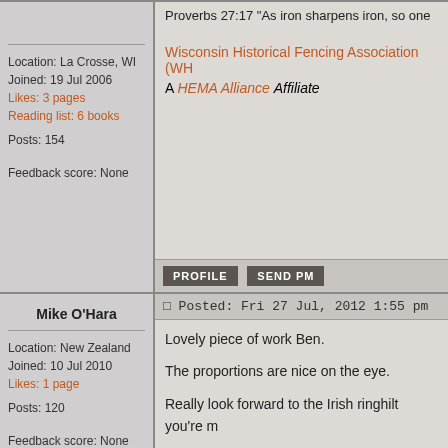Location: La Crosse, WI
Joined: 19 Jul 2006
Likes: 3 pages
Reading list: 6 books
Posts: 154
Feedback score: None
Proverbs 27:17 "As iron sharpens iron, so one
Wisconsin Historical Fencing Association (WH
A HEMA Alliance Affiliate
PROFILE   SEND PM
Mike O'Hara
Posted: Fri 27 Jul, 2012 1:55 pm   Post subject: Go
Location: New Zealand
Joined: 10 Jul 2010
Likes: 1 page
Posts: 120
Feedback score: None
Lovely piece of work Ben.

The proportions are nice on the eye.

Really look forward to the Irish ringhilt you're m

mike
MIke O'Hara
Location: Plimmerton, New Zealand
PROFILE   SEND PM
Joe Fults
Posted: Fri 27 Jul, 2012 6:42 pm   Post subject:
That...seems to have some very nice lines!